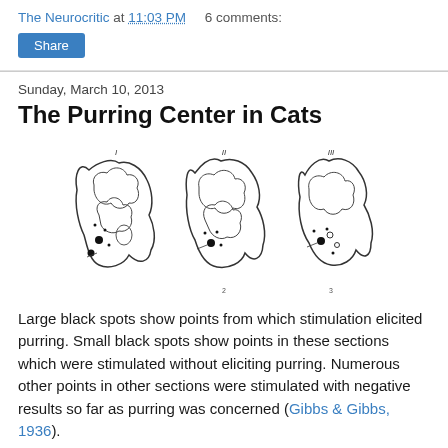The Neurocritic at 11:03 PM   6 comments:
The Purring Center in Cats
Sunday, March 10, 2013
[Figure (illustration): Three cross-sectional diagrams of cat brain slices showing stimulation points. Large black spots indicate points from which stimulation elicited purring; small black spots show points stimulated without eliciting purring.]
Large black spots show points from which stimulation elicited purring. Small black spots show points in these sections which were stimulated without eliciting purring. Numerous other points in other sections were stimulated with negative results so far as purring was concerned (Gibbs & Gibbs, 1936).